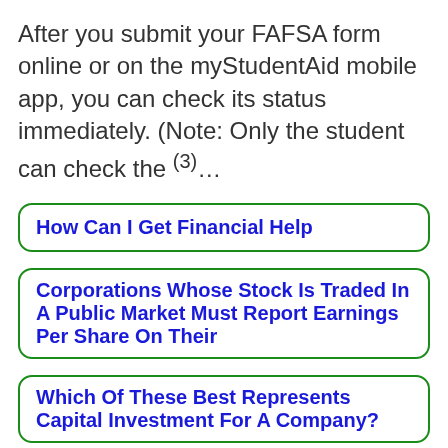After you submit your FAFSA form online or on the myStudentAid mobile app, you can check its status immediately. (Note: Only the student can check the (3)...
How Can I Get Financial Help
Corporations Whose Stock Is Traded In A Public Market Must Report Earnings Per Share On Their
Which Of These Best Represents Capital Investment For A Company?
2. How do I know if my FAFSA®